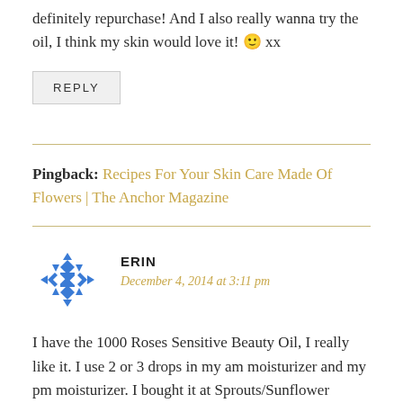definitely repurchase! And I also really wanna try the oil, I think my skin would love it! 🙂 xx
REPLY
Pingback: Recipes For Your Skin Care Made Of Flowers | The Anchor Magazine
ERIN
December 4, 2014 at 3:11 pm
I have the 1000 Roses Sensitive Beauty Oil, I really like it. I use 2 or 3 drops in my am moisturizer and my pm moisturizer. I bought it at Sprouts/Sunflower organic market.